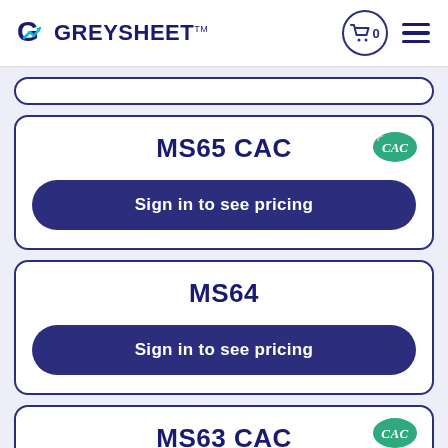GREYSHEET
MS65 CAC
Sign in to see pricing
MS64
Sign in to see pricing
MS63 CAC (partial)